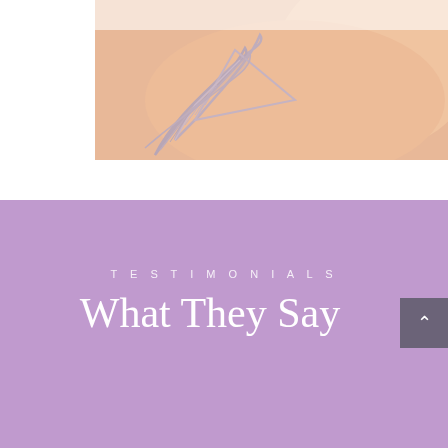[Figure (photo): Close-up photo of a person's torso/shoulder area showing skin with a decorative floral/leaf tattoo design in silver-grey and lavender colors on a white background]
TESTIMONIALS
What They Say